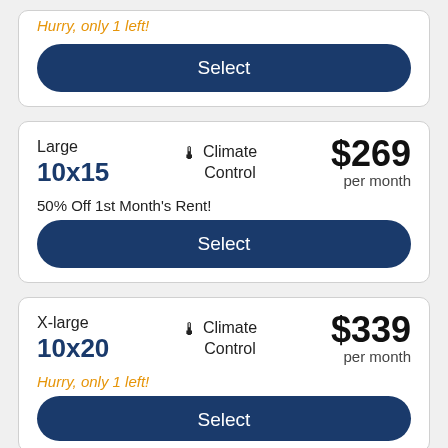Hurry, only 1 left!
Select
Large 10x15
Climate Control
$269 per month
50% Off 1st Month's Rent!
Select
X-large 10x20
Climate Control
$339 per month
Hurry, only 1 left!
Select